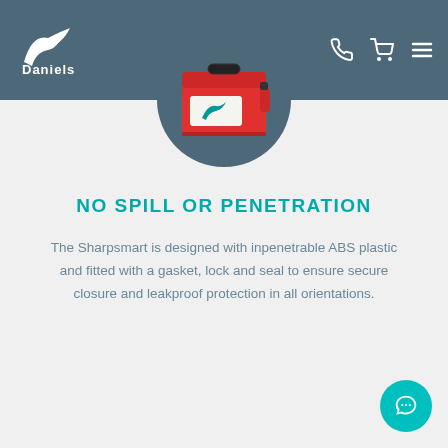[Figure (logo): Daniels company logo — white bird/shark graphic above 'Daniels' text on dark teal navigation bar]
[Figure (photo): Red Sharpsmart sharps container with teal Daniels logo on front, photographed in a circular frame with dark teal background]
NO SPILL OR PENETRATION
The Sharpsmart is designed with inpenetrable ABS plastic and fitted with a gasket, lock and seal to ensure secure closure and leakproof protection in all orientations.